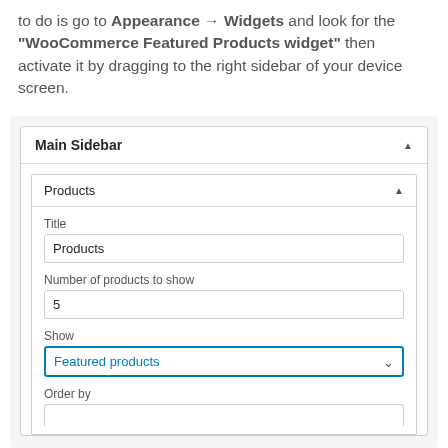to do is go to Appearance → Widgets and look for the "WooCommerce Featured Products widget" then activate it by dragging to the right sidebar of your device screen.
[Figure (screenshot): WordPress widget admin UI showing 'Main Sidebar' panel with a 'Products' widget expanded. The widget has a Title field (value: Products), a Number of products to show field (value: 5), a Show dropdown (value: Featured products, highlighted in teal), and an Order by label at the bottom.]